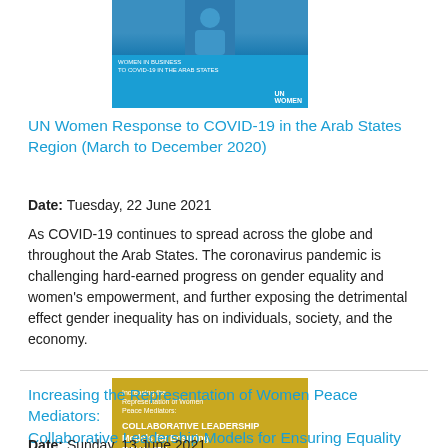[Figure (illustration): Thumbnail cover of UN Women COVID-19 report with blue background and UN Women logo]
UN Women Response to COVID-19 in the Arab States Region (March to December 2020)
Date: Tuesday, 22 June 2021
As COVID-19 continues to spread across the globe and throughout the Arab States. The coronavirus pandemic is challenging hard-earned progress on gender equality and women's empowerment, and further exposing the detrimental effect gender inequality has on individuals, society, and the economy.
[Figure (illustration): Thumbnail cover of report on Increasing the Representation of Women Peace Mediators with golden/yellow background]
Increasing the Representation of Women Peace Mediators: Collaborative Leadership Models for Ensuring Equality
Date: Sunday, 13 June 2021